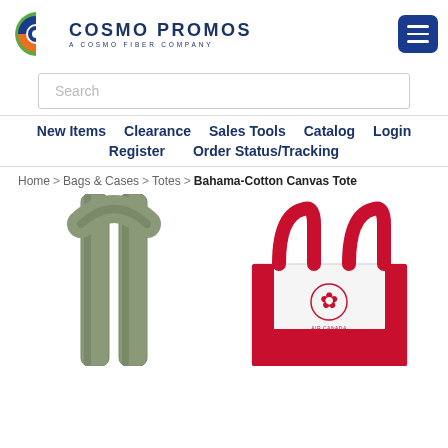[Figure (logo): Cosmo Promos logo: colorful 'C' icon with blue text 'COSMO PROMOS' and subtitle 'A COSMO FIBER COMPANY']
[Figure (other): Hamburger menu icon (three white lines on dark blue rounded square button)]
[Figure (other): Search input bar with placeholder text 'Search']
New Items   Clearance   Sales Tools   Catalog   Login   Register   Order Status/Tracking
Home > Bags & Cases > Totes > Bahama-Cotton Canvas Tote
[Figure (photo): Left: close-up of olive/sage green canvas tote bag handles, cropped. Right: white and red canvas tote bag with Air Canada logo, showing handles from above.]